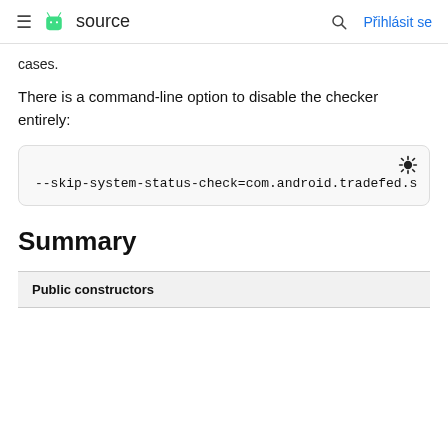≡  source   🔍  Přihlásit se
cases.
There is a command-line option to disable the checker entirely:
[Figure (screenshot): Code block showing: --skip-system-status-check=com.android.tradefed.s]
Summary
| Public constructors |
| --- |